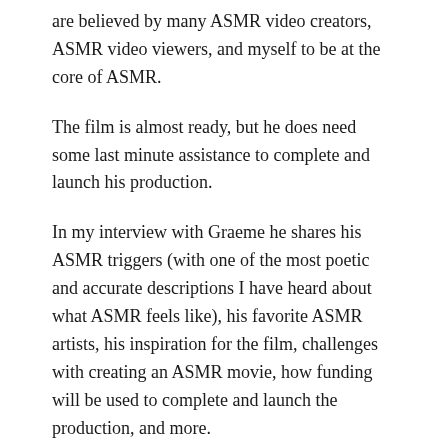are believed by many ASMR video creators, ASMR video viewers, and myself to be at the core of ASMR.
The film is almost ready, but he does need some last minute assistance to complete and launch his production.
In my interview with Graeme he shares his ASMR triggers (with one of the most poetic and accurate descriptions I have heard about what ASMR feels like), his favorite ASMR artists, his inspiration for the film, challenges with creating an ASMR movie, how funding will be used to complete and launch the production, and more.
Below are my questions in bold, his replies in italics, and